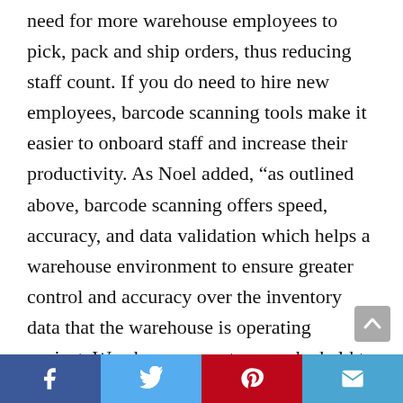need for more warehouse employees to pick, pack and ship orders, thus reducing staff count. If you do need to hire new employees, barcode scanning tools make it easier to onboard staff and increase their productivity. As Noel added, “as outlined above, barcode scanning offers speed, accuracy, and data validation which helps a warehouse environment to ensure greater control and accuracy over the inventory data that the warehouse is operating against. Warehouse operators can be held to a greater level of accountability and prevented from making certain mistakes. When combined with the right software system, barcode scanning can help ensure that the warehouse is picking orders faster and more accurately, which increases customer satisfaction.” As